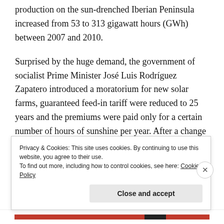production on the sun-drenched Iberian Peninsula increased from 53 to 313 gigawatt hours (GWh) between 2007 and 2010.
Surprised by the huge demand, the government of socialist Prime Minister José Luis Rodríguez Zapatero introduced a moratorium for new solar farms, guaranteed feed-in tariff were reduced to 25 years and the premiums were paid only for a certain number of hours of sunshine per year. After a change of government at the end of 2012, the new conservative administration upped the ante and introduced a new
Privacy & Cookies: This site uses cookies. By continuing to use this website, you agree to their use.
To find out more, including how to control cookies, see here: Cookie Policy
Close and accept